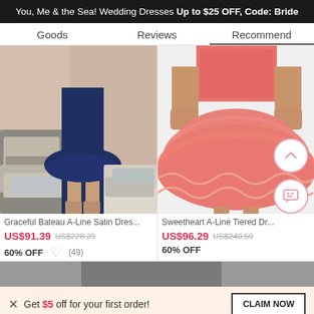You, Me & the Sea! Wedding Dresses Up to $25 OFF, Code: Bride
Goods   Reviews   Recommend
[Figure (photo): Woman wearing a navy blue A-line satin dress, lower half visible, standing in a room with decorative pillows]
[Figure (photo): Woman wearing a coral/pink tiered ruffled A-line dress, lower half visible with sequined bodice]
Graceful Bateau A-Line Satin Dres...
US$91.39  US$228.29
60% OFF  ♡ (49)
Sweetheart A-Line Tiered Dr...
US$96.29  US$240.59
60% OFF
Get $5 off for your first order!
CLAIM NOW
ADD TO BAG